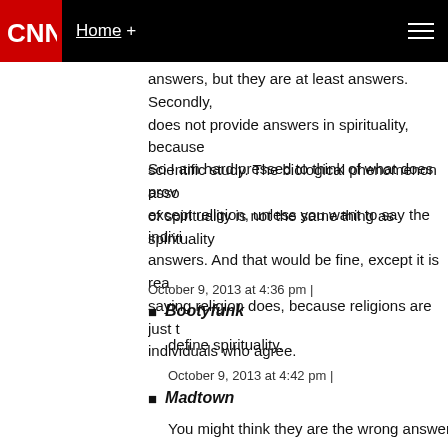CNN | Home +
answers, but they are at least answers. Secondly, does not provide answers in spirituality, because scientific study. The biological phenomenon asso of spirituality is not the same thing as spirituality
So I am hard pressed to think of what does prov except religion, unless you want to say the indivi answers. And that would be fine, except it is rea saying religion does, because religions are just t individuals who agree.
October 9, 2013 at 4:36 pm |
Bootyfunk
define spirituality.
October 9, 2013 at 4:42 pm |
Madtown
You might think they are the wrong answers